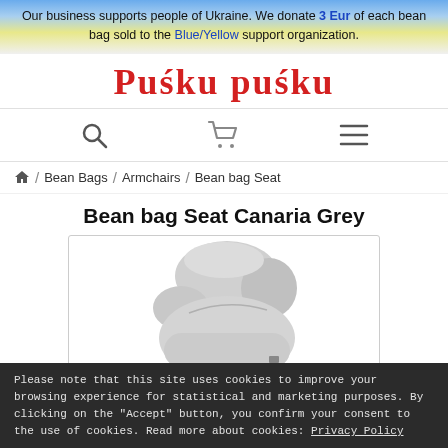Our business supports people of Ukraine. We donate 3 Eur of each bean bag sold to the Blue/Yellow support organization.
Puśku puśku
[Figure (illustration): Navigation bar with search icon, shopping cart icon, and hamburger menu icon]
🏠 / Bean Bags / Armchairs / Bean bag Seat
Bean bag Seat Canaria Grey
[Figure (photo): Grey bean bag seat chair (Canaria Grey) on white background, shown at an angle with a tall backrest and wide base]
Please note that this site uses cookies to improve your browsing experience for statistical and marketing purposes. By clicking on the "Accept" button, you confirm your consent to the use of cookies. Read more about cookies: Privacy Policy